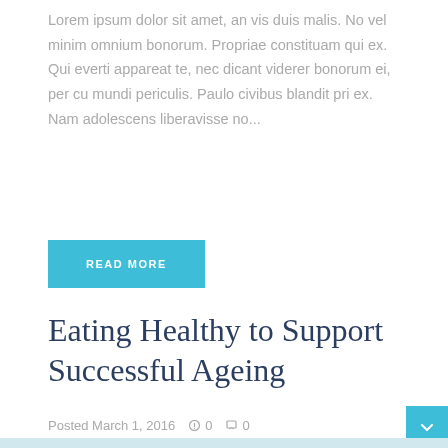Lorem ipsum dolor sit amet, an vis duis malis. No vel minim omnium bonorum. Propriae constituam qui ex. Qui everti appareat te, nec dicant viderer bonorum ei, per cu mundi periculis. Paulo civibus blandit pri ex. Nam adolescens liberavisse no...
READ MORE
Eating Healthy to Support Successful Ageing
Posted March 1, 2016   0   0